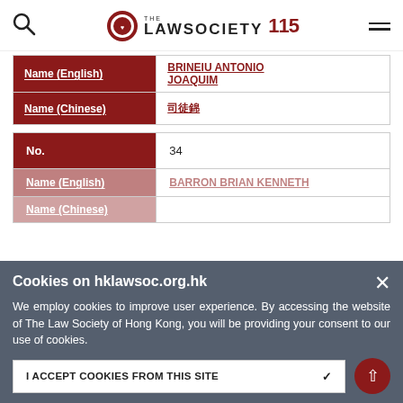The Law Society 115 (logo and navigation)
| Field | Value |
| --- | --- |
| Name (English) | BRINEIU ANTONIO JOAQUIM |
| Name (Chinese) | 司徒錦柱 |
| Field | Value |
| --- | --- |
| No. | 34 |
| Name (English) | BARRON BRIAN KENNETH |
| Name (Chinese) |  |
| No. | 35 |
| Name (English) | BELILOS MICHAEL ELIAS |
Cookies on hklawsoc.org.hk — We employ cookies to improve user experience. By accessing the website of The Law Society of Hong Kong, you will be providing your consent to our use of cookies.
I ACCEPT COOKIES FROM THIS SITE ✓